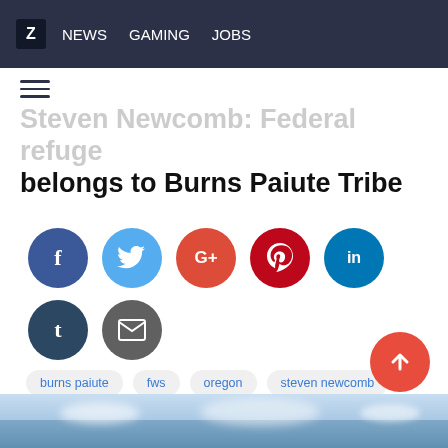z NEWS GAMING JOBS
Steven Newcomb: Federal refuge belongs to Burns Paiute Tribe
[Figure (infographic): Social media share buttons: Facebook (dark blue circle with f), Twitter (light blue circle with bird icon), Google+ (red-orange circle with G+), Pinterest (dark red circle with p icon), LinkedIn (blue circle with in), Tumblr (dark blue circle with t), Email (gray circle with envelope icon)]
burns paiute
fws
oregon
steven newcomb
treaties
Posted: Thursday, January 28, 2016
[Figure (photo): Bottom strip showing a sky with clouds, partial view of a landscape photo]